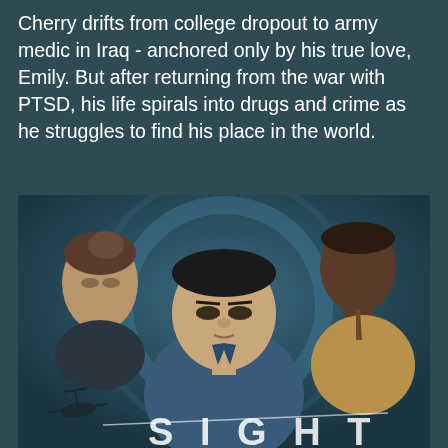Cherry drifts from college dropout to army medic in Iraq - anchored only by his true love, Emily. But after returning from the war with PTSD, his life spirals into drugs and crime as he struggles to find his place in the world.
[Figure (photo): Movie poster showing three characters: a woman on the left with hair pulled back, a young Asian man in a blue shirt in the center foreground looking downward, and an older Black man in a suit on the right background. A swirling blue circular design frames them. A helicopter is visible in the lower left. Partial movie title text 'SIGHT' is visible at the bottom.]